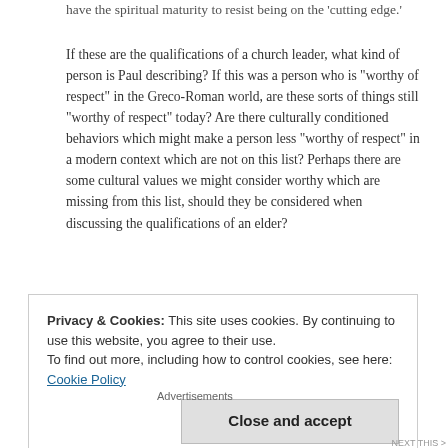have the spiritual maturity to resist being on the 'cutting edge.'
If these are the qualifications of a church leader, what kind of person is Paul describing? If this was a person who is “worthy of respect” in the Greco-Roman world, are these sorts of things still “worthy of respect” today? Are there culturally conditioned behaviors which might make a person less “worthy of respect” in a modern context which are not on this list? Perhaps there are some cultural values we might consider worthy which are missing from this list, should they be considered when discussing the qualifications of an elder?
Like this:
Privacy & Cookies: This site uses cookies. By continuing to use this website, you agree to their use.
To find out more, including how to control cookies, see here: Cookie Policy
[Figure (other): Seamless food delivery advertisement banner with pizza image, Seamless logo in red, and ORDER NOW button in white border]